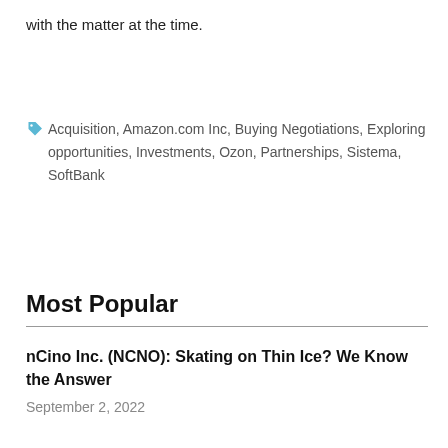with the matter at the time.
Acquisition, Amazon.com Inc, Buying Negotiations, Exploring opportunities, Investments, Ozon, Partnerships, Sistema, SoftBank
Most Popular
nCino Inc. (NCNO): Skating on Thin Ice? We Know the Answer
September 2, 2022